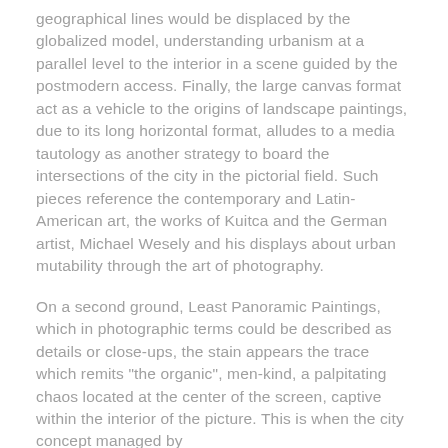geographical lines would be displaced by the globalized model, understanding urbanism at a parallel level to the interior in a scene guided by the postmodern access. Finally, the large canvas format act as a vehicle to the origins of landscape paintings, due to its long horizontal format, alludes to a media tautology as another strategy to board the intersections of the city in the pictorial field. Such pieces reference the contemporary and Latin-American art, the works of Kuitca and the German artist, Michael Wesely and his displays about urban mutability through the art of photography.
On a second ground, Least Panoramic Paintings, which in photographic terms could be described as details or close-ups, the stain appears the trace which remits "the organic", men-kind, a palpitating chaos located at the center of the screen, captive within the interior of the picture. This is when the city concept managed by